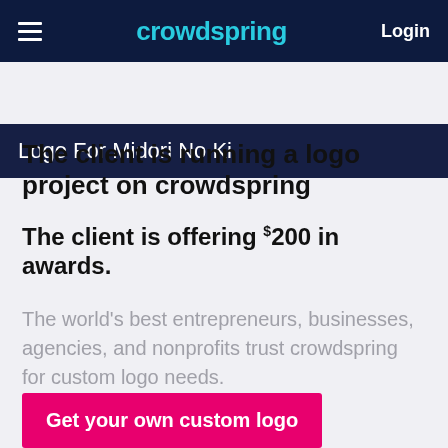crowdspring | Login
Logo For Midori No Ki
The client is running a logo project on crowdspring
The client is offering $200 in awards.
The world's best entrepreneurs, businesses, agencies, and nonprofits trust crowdspring for custom logo needs.
Get your own custom logo